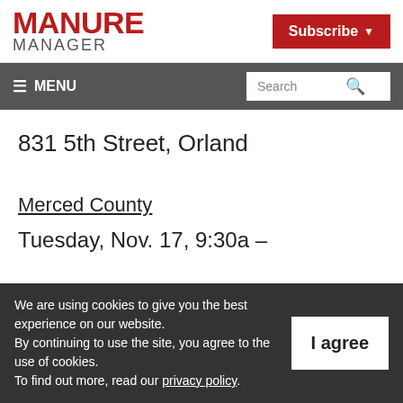MANURE MANAGER
Subscribe
MENU | Search
831 5th Street, Orland
Merced County
Tuesday, Nov. 17, 9:30a –
We are using cookies to give you the best experience on our website. By continuing to use the site, you agree to the use of cookies. To find out more, read our privacy policy.